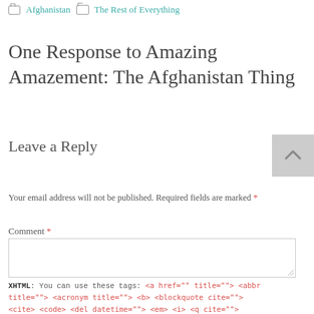Afghanistan   The Rest of Everything
One Response to Amazing Amazement: The Afghanistan Thing
Leave a Reply
Your email address will not be published. Required fields are marked *
Comment *
XHTML: You can use these tags: <a href="" title=""> <abbr title=""> <acronym title=""> <b> <blockquote cite=""> <cite> <code> <del datetime=""> <em> <i> <q cite=""> <s> <strike> <strong>